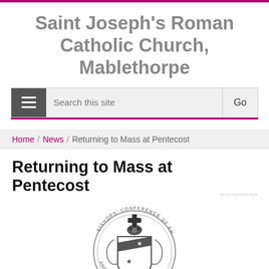Saint Joseph's Roman Catholic Church, Mablethorpe
[Figure (screenshot): Search bar with hamburger menu icon on left, search input field in middle, and 'Go' button on right, on a light grey background with a pink/magenta bottom border.]
Home / News / Returning to Mass at Pentecost
Returning to Mass at Pentecost
[Figure (logo): Bishops' Conference of England and Wales circular crest/seal in greyscale, showing heraldic shield with stars and diagonal band, topped with a cross and surrounded by ornate decorative elements with text around the border.]